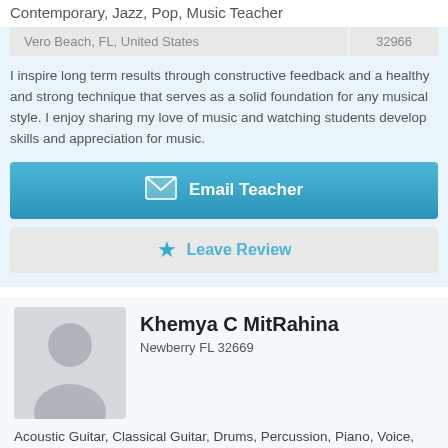Contemporary, Jazz, Pop, Music Teacher
| Vero Beach, FL, United States | 32966 |
| --- | --- |
I inspire long term results through constructive feedback and a healthy and strong technique that serves as a solid foundation for any musical style. I enjoy sharing my love of music and watching students develop skills and appreciation for music.
Email Teacher
Leave Review
Khemya C MitRahina
Newberry FL 32669
Acoustic Guitar, Classical Guitar, Drums, Percussion, Piano, Voice, Classical, Folk, Improvisation, Music History, Songwriting, Theory, Music Lessons
| Newberry, FL, United States | 32669 |
| --- | --- |
Taught private music lessons for 17 years ...